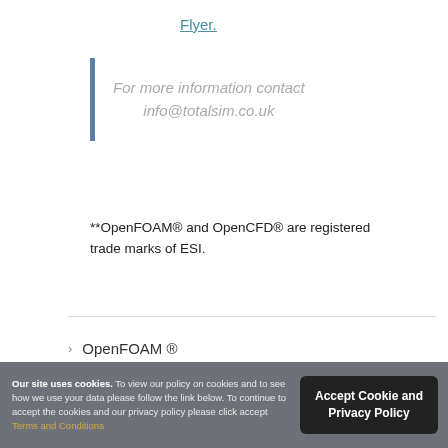Flyer.
For more information contact info@totalsim.co.uk
**OpenFOAM® and OpenCFD® are registered trade marks of ESI.
OpenFOAM ®
OpenFOAM Training
Our site uses cookies. To view our policy on cookies and to see how we use your data please follow the link below. To continue to accept the cookies and our privacy policy please click accept Terms and Conditions
Accept Cookie and Privacy Policy